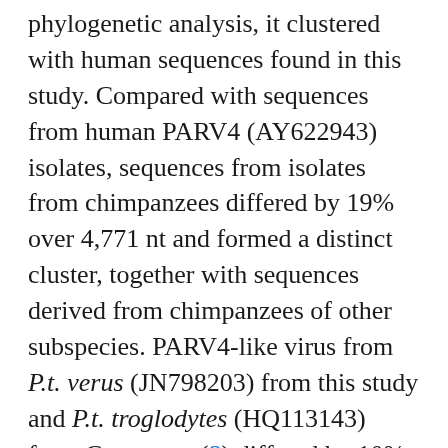phylogenetic analysis, it clustered with human sequences found in this study. Compared with sequences from human PARV4 (AY622943) isolates, sequences from isolates from chimpanzees differed by 19% over 4,771 nt and formed a distinct cluster, together with sequences derived from chimpanzees of other subspecies. PARV4-like virus from P.t. verus (JN798203) from this study and P.t. troglodytes (HQ113143) from Cameroon (8) differed by 10%, suggesting subspecies-specific PARV4-like viruses within chimpanzees of 2 different subspecies from distinct habitats. Black-and-white colobus monkey viruses exhibited a closer relationship to viruses from humans than did PARV4-like viruses from red colobus monkeys. This finding corresponds to a previous phylogenetic analysis in which the genomic relationship of different species showed that colobus monkeys separated earlier from piliocolobus